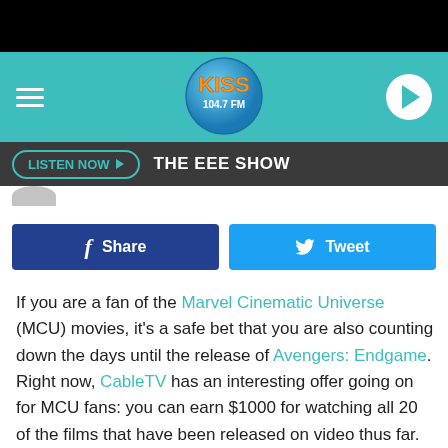[Figure (screenshot): Kiss 104.7 FM radio station website header with teal background, Kiss logo in center, hamburger menu on left, play button on right]
LISTEN NOW ▶   THE EEE SHOW
[Figure (other): Facebook Share button (dark blue) and Twitter Tweet button (light blue)]
If you are a fan of the Marvel Cinematic Universe (MCU) movies, it's a safe bet that you are also counting down the days until the release of Avengers: Endgame. Right now, CableTV has an interesting offer going on for MCU fans: you can earn $1000 for watching all 20 of the films that have been released on video thus far.
It's called The Marvel Movie Marathon Experience. In addition to the moo-lah, CableTV is going to give one lucky